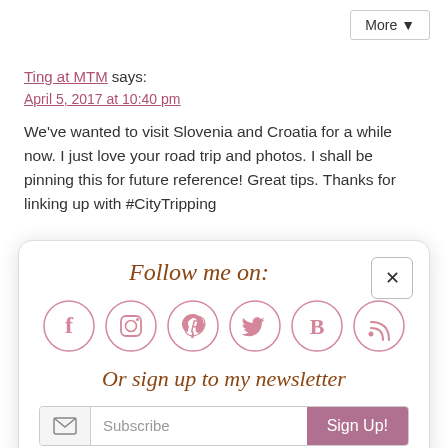More ▾
Ting at MTM says:
April 5, 2017 at 10:40 pm
We've wanted to visit Slovenia and Croatia for a while now. I just love your road trip and photos. I shall be pinning this for future reference! Great tips. Thanks for linking up with #CityTripping
[Figure (infographic): Follow me on social media modal popup with social icons (Facebook, Instagram, Pinterest, Twitter, Bloglovin, RSS) and newsletter signup form with Subscribe input and Sign Up! button]
I've pinned this and will hopefully get to use it at some point! #citytripping